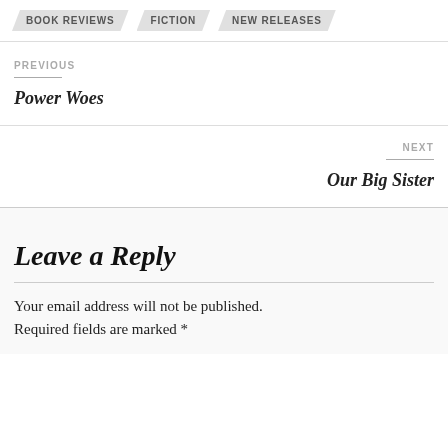BOOK REVIEWS
FICTION
NEW RELEASES
PREVIOUS
Power Woes
NEXT
Our Big Sister
Leave a Reply
Your email address will not be published. Required fields are marked *